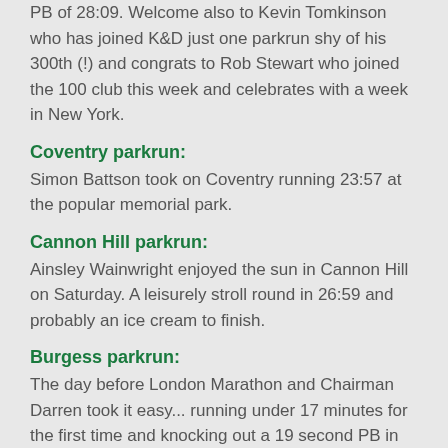PB of 28:09. Welcome also to Kevin Tomkinson who has joined K&D just one parkrun shy of his 300th (!) and congrats to Rob Stewart who joined the 100 club this week and celebrates with a week in New York.
Coventry parkrun:
Simon Battson took on Coventry running 23:57 at the popular memorial park.
Cannon Hill parkrun:
Ainsley Wainwright enjoyed the sun in Cannon Hill on Saturday. A leisurely stroll round in 26:59 and probably an ice cream to finish.
Burgess parkrun:
The day before London Marathon and Chairman Darren took it easy... running under 17 minutes for the first time and knocking out a 19 second PB in 16:54. Kate Marsh joined him on his London adventure enjoying a